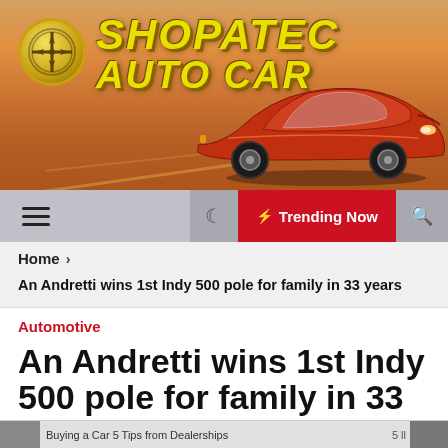[Figure (illustration): Shopatec Auto Car website header banner with orange sports car on a racetrack background. Logo is a gold compass circle on the left. Brand name 'SHOPATEC AUTO CAR' in large yellow italic bold text.]
☰   🌙  ⚡ Trending Now  🔍
Home ›
An Andretti wins 1st Indy 500 pole for family in 33 years
Automotive
An Andretti wins 1st Indy 500 pole for family in 33
Buying a Car 5 Tips from Dealerships